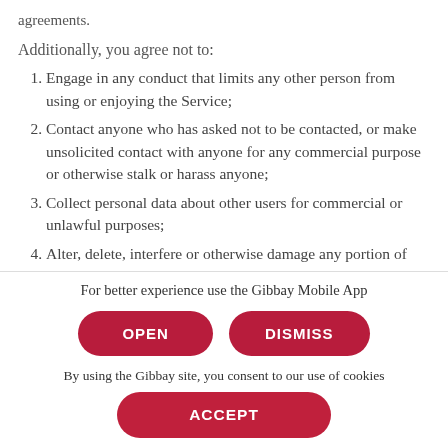agreements.
Additionally, you agree not to:
Engage in any conduct that limits any other person from using or enjoying the Service;
Contact anyone who has asked not to be contacted, or make unsolicited contact with anyone for any commercial purpose or otherwise stalk or harass anyone;
Collect personal data about other users for commercial or unlawful purposes;
Alter, delete, interfere or otherwise damage any portion of Gibbay
Use automated means to download data from the Service,
For better experience use the Gibbay Mobile App
OPEN
DISMISS
By using the Gibbay site, you consent to our use of cookies
ACCEPT